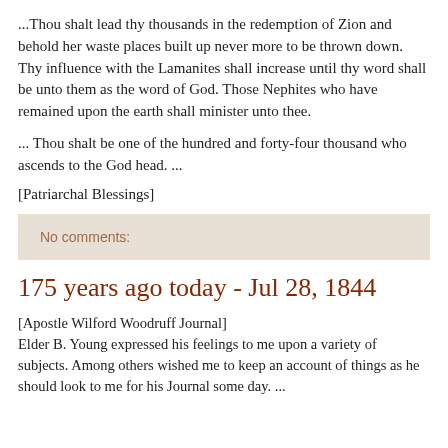...Thou shalt lead thy thousands in the redemption of Zion and behold her waste places built up never more to be thrown down. Thy influence with the Lamanites shall increase until thy word shall be unto them as the word of God. Those Nephites who have remained upon the earth shall minister unto thee.
... Thou shalt be one of the hundred and forty-four thousand who ascends to the God head. ...
[Patriarchal Blessings]
No comments:
175 years ago today - Jul 28, 1844
[Apostle Wilford Woodruff Journal]
Elder B. Young expressed his feelings to me upon a variety of subjects. Among others wished me to keep an account of things as he should look to me for his Journal some day. ...